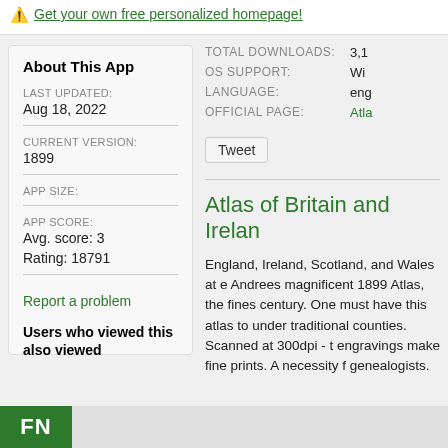⚠ Get your own free personalized homepage!
About This App
LAST UPDATED:
Aug 18, 2022
CURRENT VERSION:
1899
APP SIZE:
APP SCORE:
Avg. score: 3
Rating: 18791
Report a problem
Users who viewed this also viewed
TOTAL DOWNLOADS:
3,1
OS SUPPORT:
Wi
LANGUAGE:
eng
OFFICIAL PAGE:
Atla
Tweet
Atlas of Britain and Irelan
England, Ireland, Scotland, and Wales at e Andrees magnificent 1899 Atlas, the fines century. One must have this atlas to under traditional counties. Scanned at 300dpi - t engravings make fine prints. A necessity f genealogists.
FN